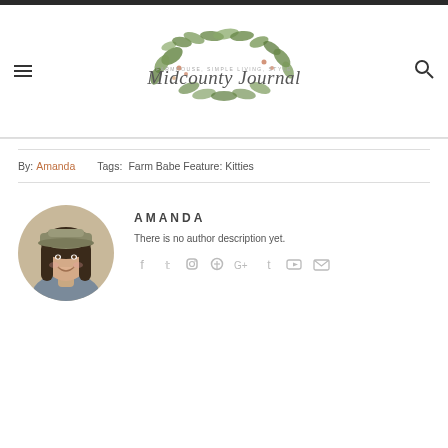[Figure (logo): Midcounty Journal logo with botanical foliage illustration and script text]
By: Amanda   Tags: Farm Babe Feature: Kitties
[Figure (photo): Circular portrait photo of Amanda, a young woman wearing a cap and smiling]
AMANDA
There is no author description yet.